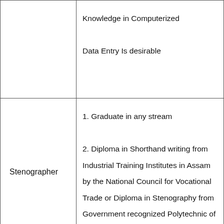|  | Knowledge in Computerized Data Entry Is desirable |
| Stenographer | 1. Graduate in any stream
2. Diploma in Shorthand writing from Industrial Training Institutes in Assam by the National Council for Vocational Trade or Diploma in Stenography from Government recognized Polytechnic of the State and having fluency in English |